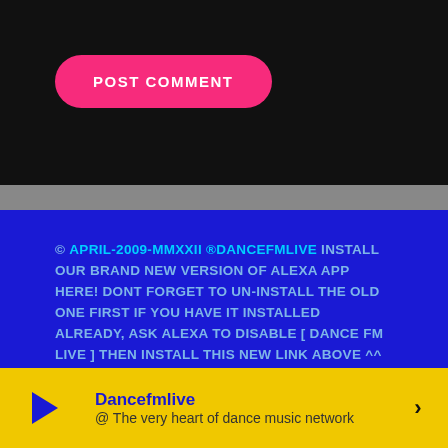[Figure (screenshot): Black section with a pink rounded POST COMMENT button]
© APRIL-2009-MMXXII ®DANCEFMLIVE INSTALL OUR BRAND NEW VERSION OF ALEXA APP HERE! DONT FORGET TO UN-INSTALL THE OLD ONE FIRST IF YOU HAVE IT INSTALLED ALREADY, ASK ALEXA TO DISABLE [ DANCE FM LIVE ] THEN INSTALL THIS NEW LINK ABOVE ^^ DANCEFMLIVE.COM
[Figure (infographic): Social media icons row: Twitter, another icon, SoundCloud, Apple, Instagram, Facebook, Amazon]
Dancefmlive @ The very heart of dance music network